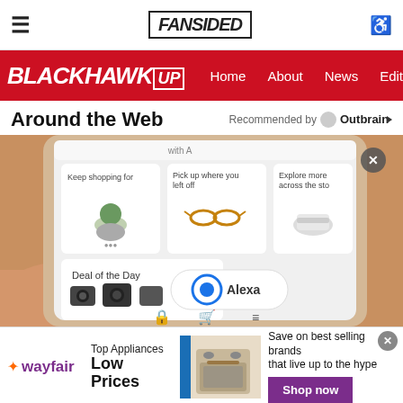FanSided
BLACKHAWK UP | Home | About | News | Editorials | An
Around the Web
Recommended by Outbrain
[Figure (screenshot): Screenshot of Amazon shopping app on a smartphone showing product recommendations: Keep shopping for (plant), Pick up where you left off (sunglasses), Explore more across the store (sneakers), Deal of the Day with camera products and Alexa logo]
[Figure (photo): Wayfair advertisement banner: Top Appliances Low Prices, Save on best selling brands that live up to the hype, Shop now button, image of a range/oven appliance]